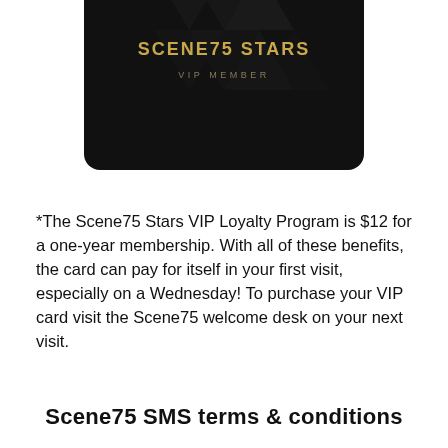[Figure (photo): A black VIP membership card with gold text reading 'SCENE75 STARS' and 'VIP MEMBER', partially cropped at the top of the page, showing a geometric diamond pattern on the dark card surface.]
*The Scene75 Stars VIP Loyalty Program is $12 for a one-year membership. With all of these benefits, the card can pay for itself in your first visit, especially on a Wednesday! To purchase your VIP card visit the Scene75 welcome desk on your next visit.
Scene75 SMS terms & conditions